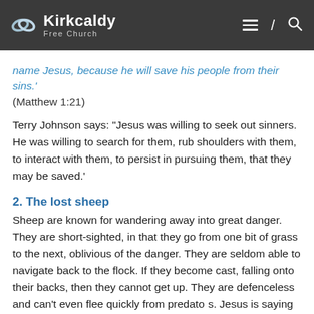Kirkcaldy Free Church
name Jesus, because he will save his people from their sins.' (Matthew 1:21)
Terry Johnson says: “Jesus was willing to seek out sinners. He was willing to search for them, rub shoulders with them, to interact with them, to persist in pursuing them, that they may be saved.’
2. The lost sheep
Sheep are known for wandering away into great danger. They are short-sighted, in that they go from one bit of grass to the next, oblivious of the danger. They are seldom able to navigate back to the flock. If they become cast, falling onto their backs, then they cannot get up. They are defenceless and can’t even flee quickly from predators. Jesus is saying that people are like lost sheep. They don’t know the true meaning of life is to live for God’s glory so